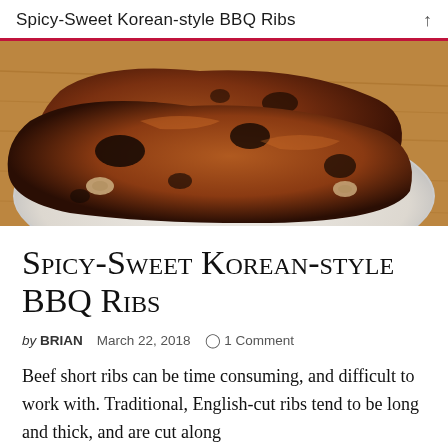Spicy-Sweet Korean-style BBQ Ribs
[Figure (photo): Close-up photo of grilled Korean BBQ short ribs on a white plate, charred and caramelized, placed on a wooden surface]
Spicy-Sweet Korean-style BBQ Ribs
by BRIAN   March 22, 2018   1 Comment
Beef short ribs can be time consuming, and difficult to work with. Traditional, English-cut ribs tend to be long and thick, and are cut along